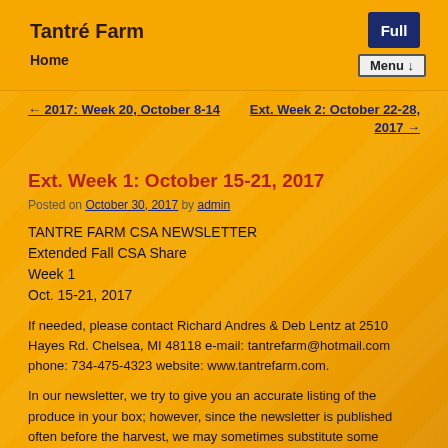Tantré Farm
Home
[Figure (screenshot): Full button icon (laptop with 'Full' label)]
Menu ↓
← 2017: Week 20, October 8-14
Ext. Week 2: October 22-28, 2017 →
Ext. Week 1: October 15-21, 2017
Posted on October 30, 2017 by admin
TANTRE FARM CSA NEWSLETTER
Extended Fall CSA Share
Week 1
Oct. 15-21, 2017
If needed, please contact Richard Andres & Deb Lentz at 2510 Hayes Rd. Chelsea, MI 48118 e-mail: tantrefarm@hotmail.com phone: 734-475-4323 website: www.tantrefarm.com.
In our newsletter, we try to give you an accurate listing of the produce in your box; however, since the newsletter is published often before the harvest, we may sometimes substitute some